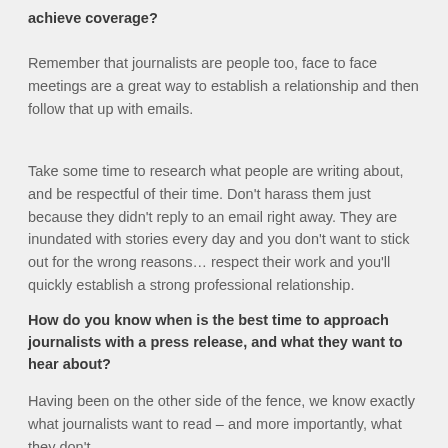achieve coverage?
Remember that journalists are people too, face to face meetings are a great way to establish a relationship and then follow that up with emails.
Take some time to research what people are writing about, and be respectful of their time. Don't harass them just because they didn't reply to an email right away. They are inundated with stories every day and you don't want to stick out for the wrong reasons… respect their work and you'll quickly establish a strong professional relationship.
How do you know when is the best time to approach journalists with a press release, and what they want to hear about?
Having been on the other side of the fence, we know exactly what journalists want to read – and more importantly, what they don't